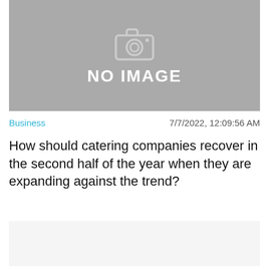[Figure (other): Gray placeholder image with camera icon and NO IMAGE text]
Business
7/7/2022, 12:09:56 AM
How should catering companies recover in the second half of the year when they are expanding against the trend?
[Figure (other): Light gray content placeholder block]